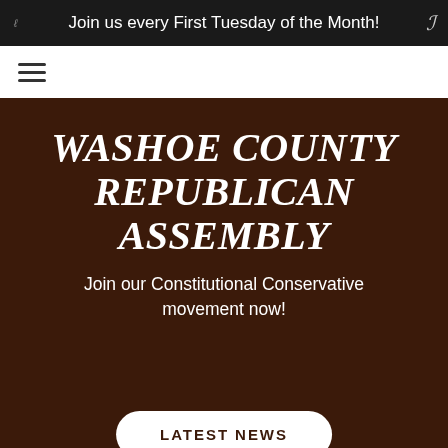Join us every First Tuesday of the Month!
[Figure (other): Hamburger menu icon (three horizontal lines) for navigation]
WASHOE COUNTY REPUBLICAN ASSEMBLY
Join our Constitutional Conservative movement now!
LATEST NEWS